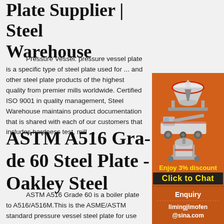Plate Supplier | Steel Warehouse
Pressure Vessel: pressure vessel plate is a specific type of steel plate used for ... and other steel plate products of the highest quality from premier mills worldwide. Certified ISO 9001 in quality management, Steel Warehouse maintains product documentation that is shared with each of our customers that includes hardness test, mill ...
ASTM A516 Grade 60 Steel Plate - Oakley Steel
[Figure (illustration): Orange advertisement banner showing industrial machinery (crusher/mill equipment) with text 'Enjoy 3% discount' and 'Click to Chat' button, followed by Enquiry section with email limingjlmofen@sina.com]
ASTM A516 Grade 60 is a boiler plate to A516/A516M.This is the ASME/ASTM standard pressure vessel steel plate for use at low and medium temperatures; typically where improved Charpy V-notch